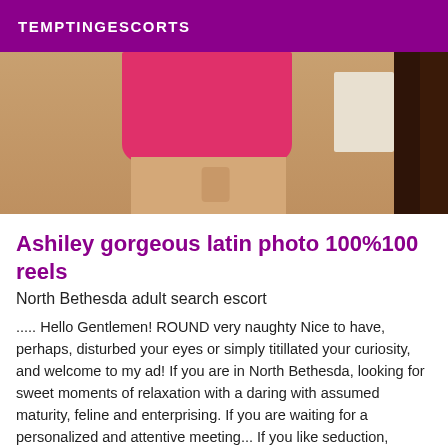TEMPTINGESCORTS
[Figure (photo): A woman in a short pink/magenta dress standing near a dark wooden bedpost, photo cropped to show torso and legs.]
Ashiley gorgeous latin photo 100%100 reels
North Bethesda adult search escort
..... Hello Gentlemen! ROUND very naughty Nice to have, perhaps, disturbed your eyes or simply titillated your curiosity, and welcome to my ad! If you are in North Bethesda, looking for sweet moments of relaxation with a daring with assumed maturity, feline and enterprising. If you are waiting for a personalized and attentive meeting... If you like seduction, sharing and audacity... I then invite you to leaf through these few pages... to